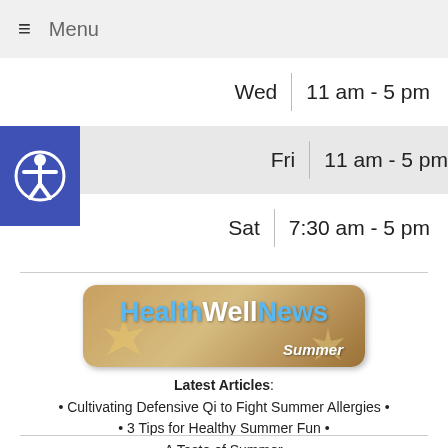☰ Menu
| Day | Hours |
| --- | --- |
| Wed | 11 am - 5 pm |
| Fri | 11 am - 5 pm |
| Sat | 7:30 am - 5 pm |
[Figure (logo): HealthWellNews Summer banner with sandy beach background and starfish decorations]
Latest Articles: • Cultivating Defensive Qi to Fight Summer Allergies • • 3 Tips for Healthy Summer Fun • • A Taste of Summer •